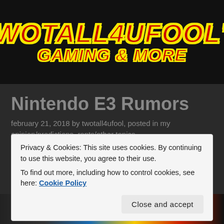[Figure (logo): TwoTall4UFool's Gaming & More logo — bold red italic text with yellow outline on black background]
Nintendo E3 Rumors
february 21, 2018 by twotall4ufool, posted in my opinion/predictions, rants/other topics
Privacy & Cookies: This site uses cookies. By continuing to use this website, you agree to their use.
To find out more, including how to control cookies, see here: Cookie Policy
[Figure (photo): Partial image of what appears to be a game or gaming-related photo at the bottom of the page]